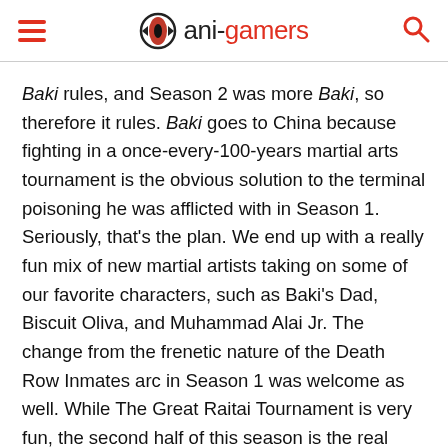ani-gamers
Baki rules, and Season 2 was more Baki, so therefore it rules. Baki goes to China because fighting in a once-every-100-years martial arts tournament is the obvious solution to the terminal poisoning he was afflicted with in Season 1. Seriously, that's the plan. We end up with a really fun mix of new martial artists taking on some of our favorite characters, such as Baki's Dad, Biscuit Oliva, and Muhammad Alai Jr. The change from the frenetic nature of the Death Row Inmates arc in Season 1 was welcome as well. While The Great Raitai Tournament is very fun, the second half of this season is the real highlight. After returning to Japan, the show shifts focus onto Muhammad Alai Jr. training for a fight with Baki while also trying to court Baki's girlfriend